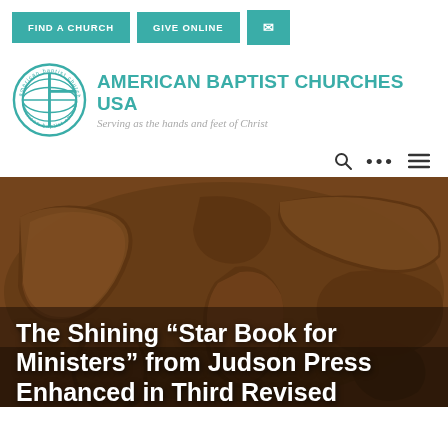FIND A CHURCH | GIVE ONLINE | ✉
[Figure (logo): American Baptist Churches USA circular teal logo with cross and globe motif, encircled by text 'american baptist churches usa']
AMERICAN BAPTIST CHURCHES USA
Serving as the hands and feet of Christ
[Figure (illustration): Navigation icons: search (magnifying glass), ellipsis (three dots), and hamburger menu]
[Figure (photo): A wooden world map carving with layered relief details in brown tones forming the background hero image.]
The Shining “Star Book for Ministers” from Judson Press Enhanced in Third Revised